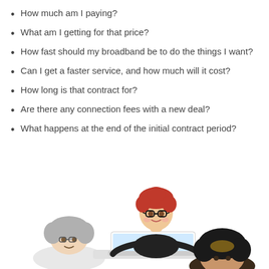How much am I paying?
What am I getting for that price?
How fast should my broadband be to do the things I want?
Can I get a faster service, and how much will it cost?
How long is that contract for?
Are there any connection fees with a new deal?
What happens at the end of the initial contract period?
[Figure (illustration): Three cartoon characters partially visible at the bottom of the page: an elderly person with grey hair on the left, a young man with red hair and glasses using a laptop in the center, and a person with dark curly hair on the right.]